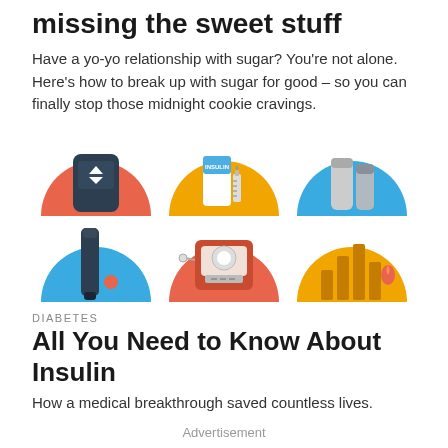missing the sweet stuff
Have a yo-yo relationship with sugar? You're not alone. Here's how to break up with sugar for good – so you can finally stop those midnight cookie cravings.
[Figure (illustration): Three circular icons with flat design: 1) orange circle with a dark continuous glucose monitor device showing up/down arrows; 2) yellow/gold circle with an insulin vial and syringe labeled INSULIN; 3) blue circle with two medication/cream tubes.]
[Figure (illustration): Three circular icons with flat design (bottom row, partially cropped): 1) blue circle with a dark pen injector device and small orange dot; 2) orange/salmon circle with a blood pressure monitor showing a dial/gauge and display panel; 3) yellow/gold circle with bar chart bars and a small flame/drop icon.]
DIABETES
All You Need to Know About Insulin
How a medical breakthrough saved countless lives.
Advertisement